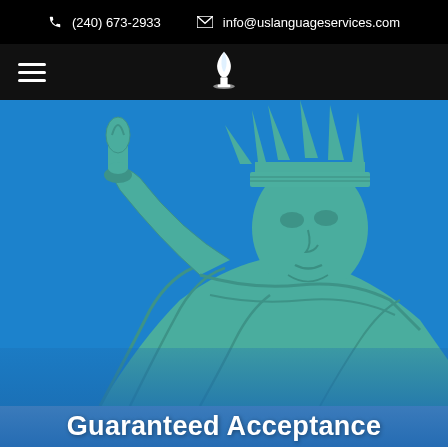(240) 673-2933  info@uslanguageservices.com
[Figure (logo): Navigation bar with hamburger menu icon on left and flame/torch logo icon centered on black background]
[Figure (photo): Statue of Liberty close-up photograph against bright blue sky, showing the face, crown with spikes, and raised torch arm]
Guaranteed Acceptance